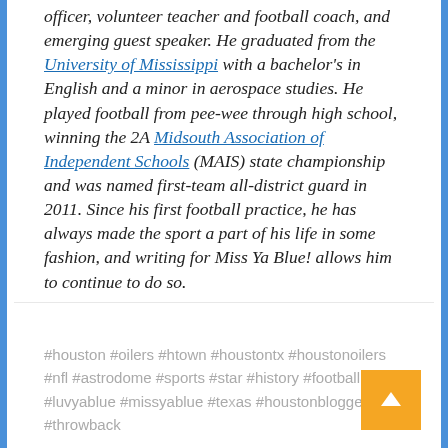officer, volunteer teacher and football coach, and emerging guest speaker. He graduated from the University of Mississippi with a bachelor's in English and a minor in aerospace studies. He played football from pee-wee through high school, winning the 2A Midsouth Association of Independent Schools (MAIS) state championship and was named first-team all-district guard in 2011. Since his first football practice, he has always made the sport a part of his life in some fashion, and writing for Miss Ya Blue! allows him to continue to do so.
#houston #oilers #htown #houstontx #houstonoilers #nfl #astrodome #sports #star #history #football #luvyablue #missyablue #texas #houstonblogger #throwback